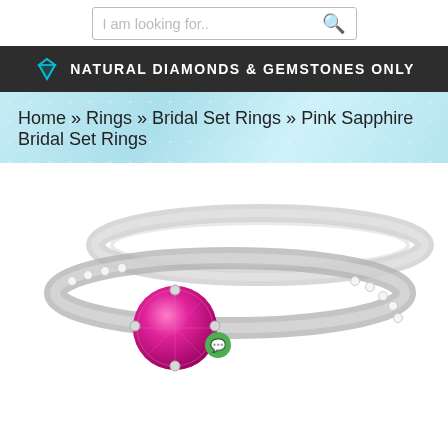I am looking for..
NATURAL DIAMONDS & GEMSTONES ONLY
Home » Rings » Bridal Set Rings » Pink Sapphire Bridal Set Rings
[Figure (photo): Two silver/platinum rings stacked, one plain band and one with diamond pave setting, featuring a central round pink sapphire gemstone with prong setting and a green chat icon overlay.]